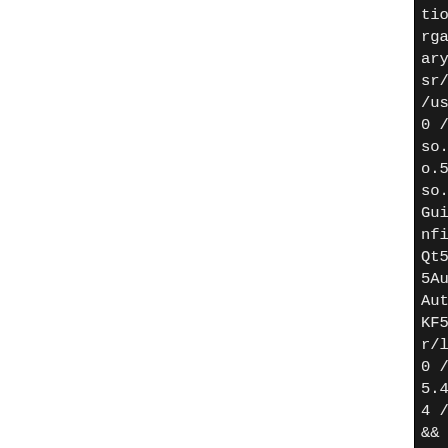tion.cpp.o src/kontactplug rganizer/CMakeFiles/kcmtoo ary.dir/kcmtodosummary.cpp sr/lib/libKF5KCMUtils.so.5 /usr/lib/libKF5Service.so. 0 /usr/lib/libKF5ConfigWid so.5.94.0 /usr/lib/libKF5 o.5.94.0 /usr/lib/libKF5Co so.5.94.0 /usr/lib/libKF5C Gui.so.5.94.0 /usr/lib/lib nfigCore.so.5.94.0 /usr/li Qt5Xml.so.5.15.4 /usr/lib/ 5Auth.so.5.94.0 /usr/lib/l AuthCore.so.5.94.0 /usr/li KF5WidgetsAddons.so.5.94.0 r/lib/libKF5CoreAddons.so. 0 /usr/lib/libQt5Widgets.so 5.4 /usr/lib/libQt5Gui.so. 4 /usr/lib/libQt5Core.so.5 && : [52/199] : && /usr/bin/i68 -linux-g++ -fPIC -fno-oper names -fno-exceptions -Wa, xtra -Wcast-align -Wchar-s